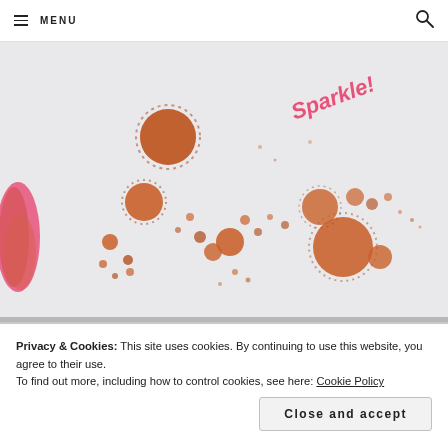MENU
[Figure (photo): Close-up photo of a notebook or paper page with copper/rose gold metallic ink droplets splattered across the surface. The word 'Sparkle!' is written in pink handwriting in the upper right corner. On the left edge, a pink and copper ink swatch is visible. The droplets vary in size and shimmer with copper metallic sheen.]
Privacy & Cookies: This site uses cookies. By continuing to use this website, you agree to their use.
To find out more, including how to control cookies, see here: Cookie Policy
Close and accept